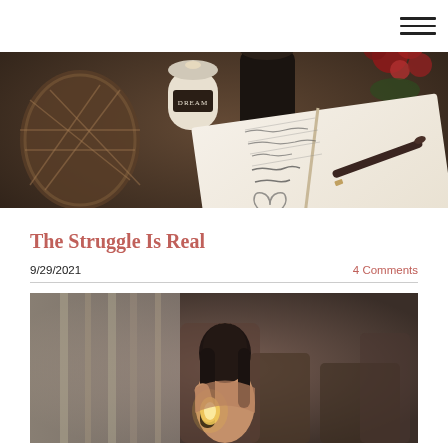[Figure (photo): A journal/notebook open on a table with handwritten text and a drawn heart, a pen resting on it. In the background are candles, a wicker basket lantern, and red flowers on a dark surface.]
The Struggle Is Real
9/29/2021
4 Comments
[Figure (photo): A person with long dark hair sitting in a chair indoors, photographed from behind/side. They appear to be holding something glowing. Background shows curtains and chairs in a warm, dim setting.]